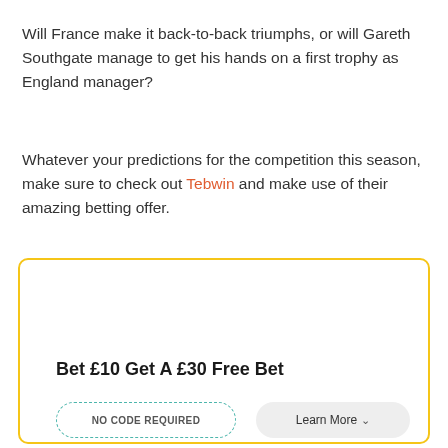Will France make it back-to-back triumphs, or will Gareth Southgate manage to get his hands on a first trophy as England manager?
Whatever your predictions for the competition this season, make sure to check out Tebwin and make use of their amazing betting offer.
[Figure (infographic): Promotional betting offer box with yellow border. Contains heading 'Bet £10 Get A £30 Free Bet', a dashed teal 'NO CODE REQUIRED' button, and a grey 'Learn More' button.]